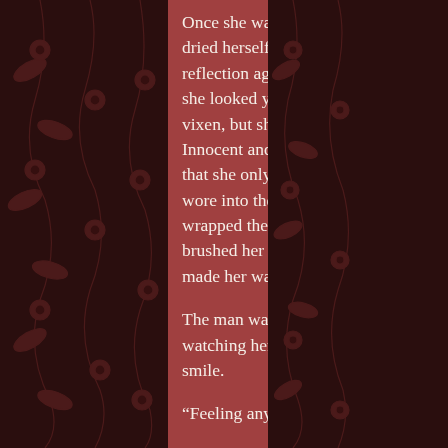Once she was done, she got out and dried herself then checked her reflection again. Without make-up, she looked younger and less of a vixen, but she liked what she saw. Innocent and pure. She then realized that she only had the clothes she wore into the bathroom, so she wrapped the towel around her body, brushed her wet hair and slowly made her way out.
The man was in the kitchenette, watching her closely with a warm smile.
“Feeling any better?” He asked.
Pauline nodded and stepped gingerly